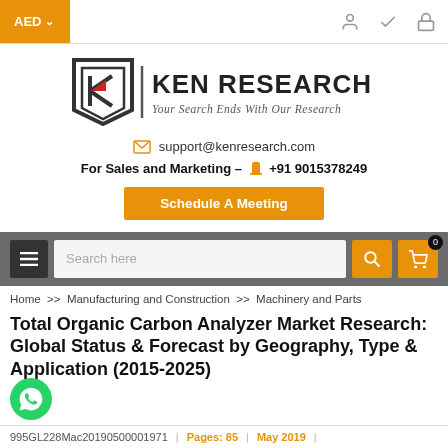AED
[Figure (logo): Ken Research logo with tagline: Your Search Ends With Our Research]
support@kenresearch.com
For Sales and Marketing – +91 9015378249
Schedule A Meeting
Search here
Home >> Manufacturing and Construction >> Machinery and Parts
Total Organic Carbon Analyzer Market Research: Global Status & Forecast by Geography, Type & Application (2015-2025)
995GL228Mac20190500001971 | Pages: 85 | May 2019